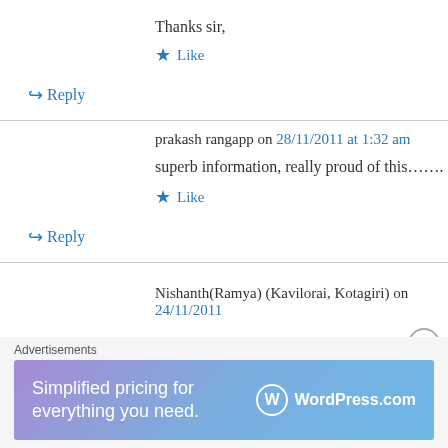Thanks sir,
★ Like
↪ Reply
prakash rangapp on 28/11/2011 at 1:32 am
superb information, really proud of this…….
★ Like
↪ Reply
Nishanth(Ramya) (Kavilorai, Kotagiri) on 24/11/2011
Advertisements
[Figure (infographic): WordPress.com advertisement banner: 'Simplified pricing for everything you need.' with WordPress.com logo on gradient purple-blue background]